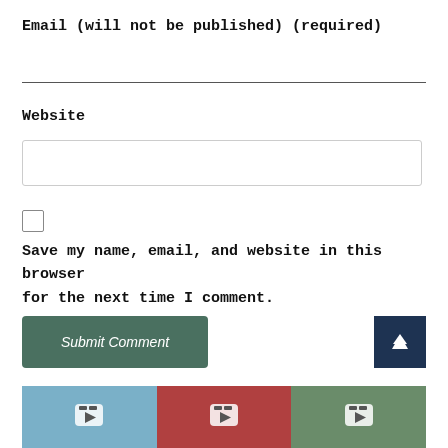Email (will not be published) (required)
Website
Save my name, email, and website in this browser for the next time I comment.
Submit Comment
[Figure (screenshot): Three video thumbnails at the bottom showing mountain/nature scenes with play buttons]